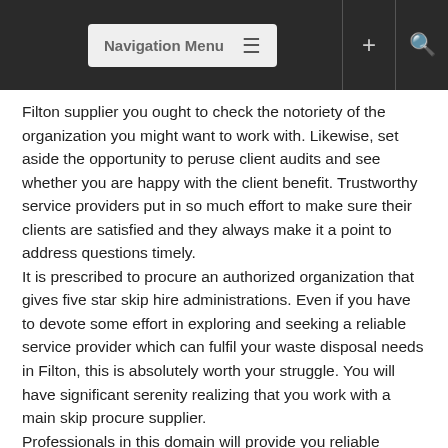Navigation Menu
Filton supplier you ought to check the notoriety of the organization you might want to work with. Likewise, set aside the opportunity to peruse client audits and see whether you are happy with the client benefit. Trustworthy service providers put in so much effort to make sure their clients are satisfied and they always make it a point to address questions timely. It is prescribed to procure an authorized organization that gives five star skip hire administrations. Even if you have to devote some effort in exploring and seeking a reliable service provider which can fulfil your waste disposal needs in Filton, this is absolutely worth your struggle. You will have significant serenity realizing that you work with a main skip procure supplier. Professionals in this domain will provide you reliable estimation of the services you want such